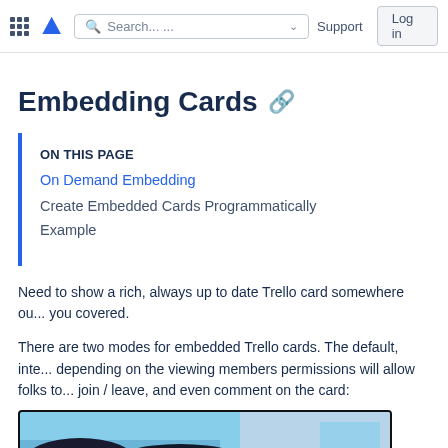Search...  Support  Log in
Embedding Cards 🔗
ON THIS PAGE
On Demand Embedding
Create Embedded Cards Programmatically
Example
Need to show a rich, always up to date Trello card somewhere ou... you covered.
There are two modes for embedded Trello cards. The default, inte... depending on the viewing members permissions will allow folks to... join / leave, and even comment on the card:
[Figure (screenshot): Screenshot of an embedded Trello card showing a black and light blue illustration]